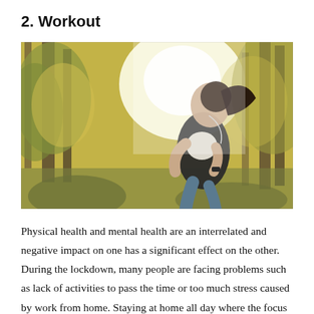2. Workout
[Figure (photo): A woman running outdoors in a forest, wearing athletic wear and earphones, with sunlight filtering through trees in the background.]
Physical health and mental health are an interrelated and negative impact on one has a significant effect on the other. During the lockdown, many people are facing problems such as lack of activities to pass the time or too much stress caused by work from home. Staying at home all day where the focus has